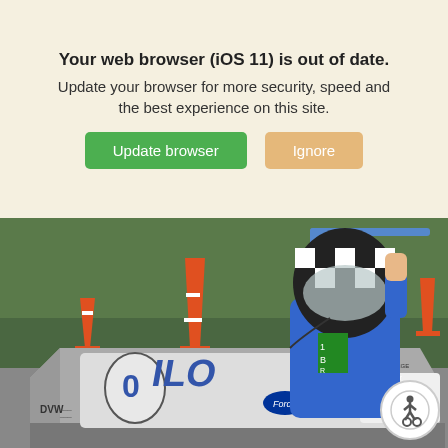parents about web browsers eye possible
Your web browser (iOS 11) is out of date. Update your browser for more security, speed and the best experience on this site.
Update browser | Ignore
[Figure (photo): A young person wearing a checkered racing helmet and blue jacket sits in a Greenpower electric kit car (number 349) with Ford and Siemens sponsor logos, surrounded by orange traffic cones on a race track. West College Scotland branding visible.]
[Figure (other): Circular accessibility icon button (wheelchair user symbol) in bottom-right corner]